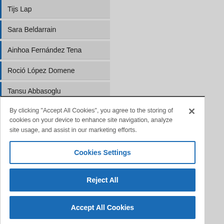Tijs Lap
Sara Beldarrain
Ainhoa Fernández Tena
Roció López Domene
Tansu Abbasoglu
Ana Trajcheva
Giulia Vozzolo
By clicking "Accept All Cookies", you agree to the storing of cookies on your device to enhance site navigation, analyze site usage, and assist in our marketing efforts.
Cookies Settings
Reject All
Accept All Cookies